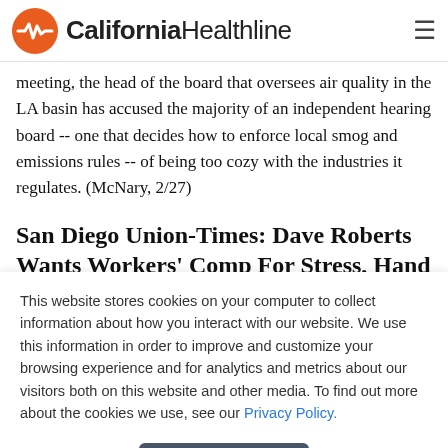California Healthline
meeting, the head of the board that oversees air quality in the LA basin has accused the majority of an independent hearing board -- one that decides how to enforce local smog and emissions rules -- of being too cozy with the industries it regulates. (McNary, 2/27)
San Diego Union-Times: Dave Roberts Wants Workers' Comp For Stress, Hand Injury
Former San Diego County Supervisor Dave Roberts has filed
This website stores cookies on your computer to collect information about how you interact with our website. We use this information in order to improve and customize your browsing experience and for analytics and metrics about our visitors both on this website and other media. To find out more about the cookies we use, see our Privacy Policy.